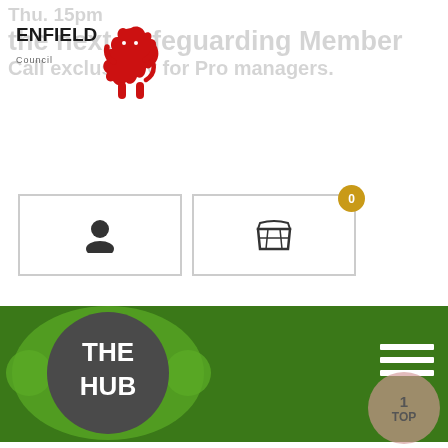[Figure (logo): Enfield Council logo with red lion and text]
[Figure (screenshot): Navigation bar with user icon and shopping cart icon with badge showing 0]
[Figure (logo): The Hub logo - dark circle with THE HUB text, surrounded by green circles, on green navigation bar]
place by going to: https://www.safeguardinginschools.co.uk/products/safeguarding-pro-resources/categories/2149313100/posts/2155609704
You can submit questions to be answered here: https://www.menti.com/9sy1dad7va